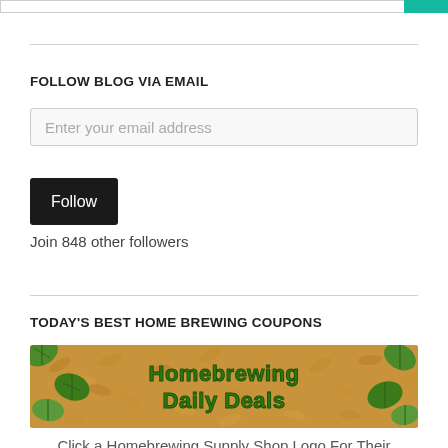FOLLOW BLOG VIA EMAIL
Enter your email address
Follow
Join 848 other followers
TODAY'S BEST HOME BREWING COUPONS
[Figure (illustration): Homebrewing Daily Deals banner with hops and grain background, green stylized text reading 'Homebrewing Daily Deals']
Click a Homebrewing Supply Shop Logo For Their